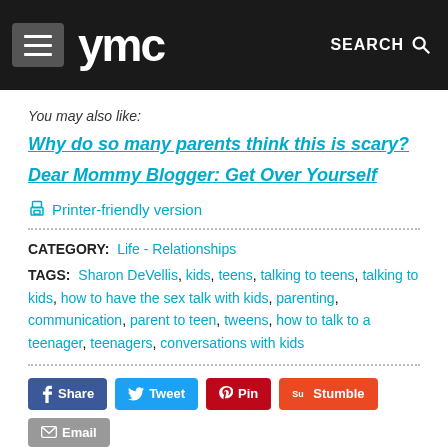YMC | SEARCH
You may also like:
Why do so many parents think this is scary?
Dear Mommy Blogger: Get Over Yourself
Printer-friendly version
CATEGORY: Life - Relationships
TAGS: Sharon DeVellis, kids, teens, talking to teens, talking to kids, how to have the sex talk with kids, parenting, communication, parent to teen, tweens, how to talk to a teenager, teenagers, conversations with kids
Share | Tweet | Pin | Stumble | Email | Share | Like 0